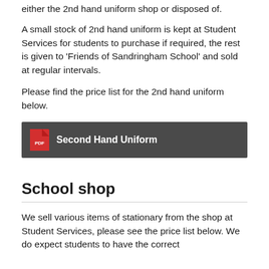either the 2nd hand uniform shop or disposed of.
A small stock of 2nd hand uniform is kept at Student Services for students to purchase if required, the rest is given to ‘Friends of Sandringham School’ and sold at regular intervals.
Please find the price list for the 2nd hand uniform below.
[Figure (other): Dark grey button/link bar with PDF icon and bold white text reading 'Second Hand Uniform']
School shop
We sell various items of stationary from the shop at Student Services, please see the price list below. We do expect students to have the correct